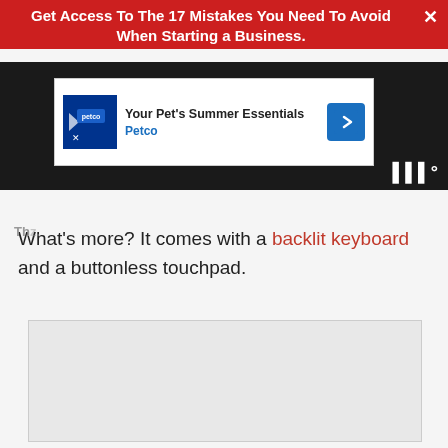Get Access To The 17 Mistakes You Need To Avoid When Starting a Business.
[Figure (screenshot): Dark website header bar with struck-through title text and weather icons]
[Figure (screenshot): Petco advertisement banner: Your Pet's Summer Essentials - Petco]
What's more? It comes with a backlit keyboard and a buttonless touchpad.
[Figure (photo): Large embedded image placeholder (light grey)]